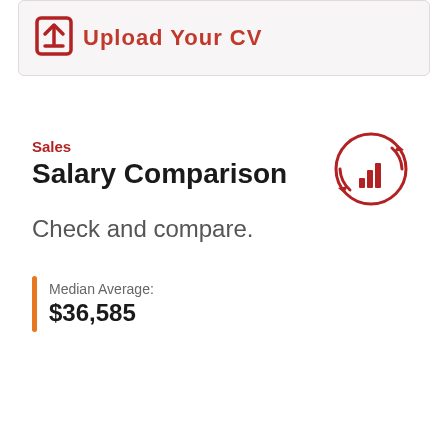[Figure (illustration): Upload Your CV button/icon area with dark red upload icon and text partially visible at top]
Sales
Salary Comparison
[Figure (infographic): Circular refresh/sync icon with bar chart inside, in dark red color]
Check and compare.
Median Average:
$36,585